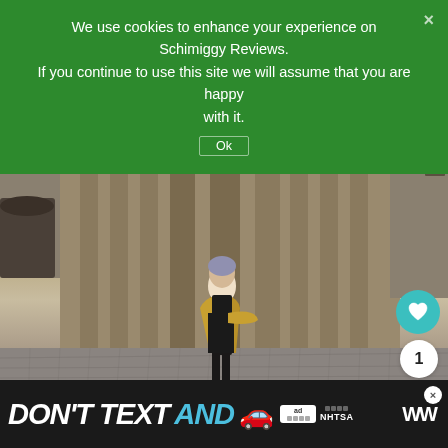We use cookies to enhance your experience on Schimiggy Reviews. If you continue to use this site we will assume that you are happy with it.
[Figure (photo): Woman in yellow jacket and black outfit posing in a cobblestone square in front of a large Gothic cathedral building]
WHAT'S NEXT → Medellin Travel Guide...
View more on Instagram
DON'T TEXT AND 🚗